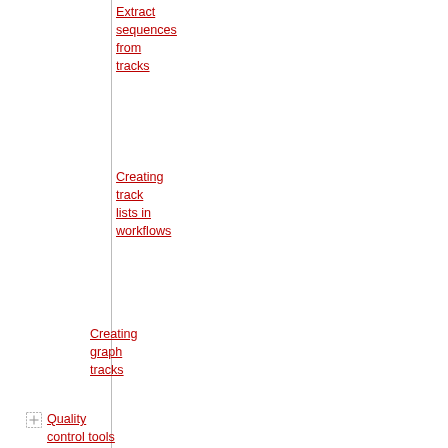Extract sequences from tracks
Creating track lists in workflows
Creating graph tracks
Quality control tools
Preparing raw data tools
Resequencing analysis tools
Add information